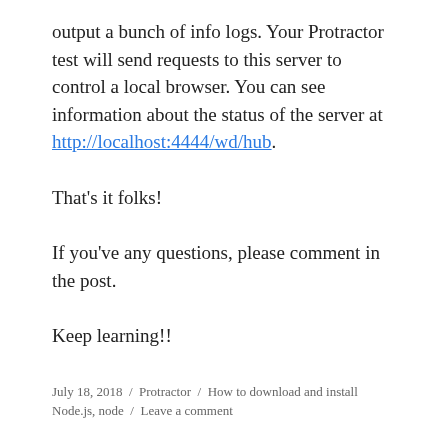output a bunch of info logs. Your Protractor test will send requests to this server to control a local browser. You can see information about the status of the server at http://localhost:4444/wd/hub.
That's it folks!
If you've any questions, please comment in the post.
Keep learning!!
July 18, 2018 / Protractor / How to download and install Node.js, node / Leave a comment